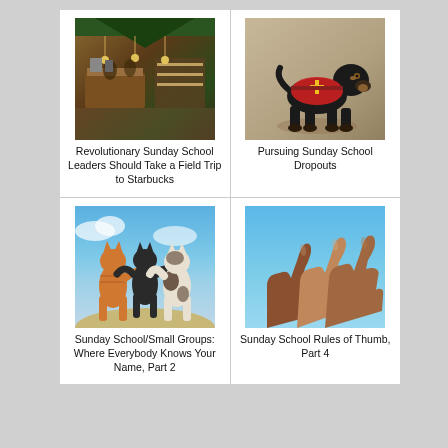[Figure (photo): Interior of a Starbucks store with counter and display cases]
Revolutionary Sunday School Leaders Should Take a Field Trip to Starbucks
[Figure (photo): Black dog wearing a red service/rescue vest with cross symbol]
Pursuing Sunday School Dropouts
[Figure (photo): Three cats standing upright and hugging each other, viewed from behind against sky]
Sunday School/Small Groups: Where Everybody Knows Your Name, Part 2
[Figure (photo): Multiple hands showing thumbs up gesture against blue sky]
Sunday School Rules of Thumb, Part 4